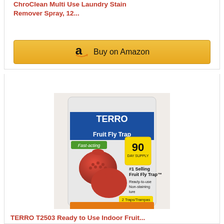ChroClean Multi Use Laundry Stain Remover Spray, 12...
[Figure (other): Buy on Amazon button with Amazon logo]
BESTSELLER NO. 2
SALE
[Figure (photo): TERRO T2503 Ready to Use Indoor Fruit Fly Trap product packaging showing two red apple-shaped traps, Fast-acting, up to 90 Day Supply, #1 Selling Fruit Fly Trap, Ready-to-use, Non-staining lure, 2 Traps/Trampa]
TERRO T2503 Ready to Use Indoor Fruit...